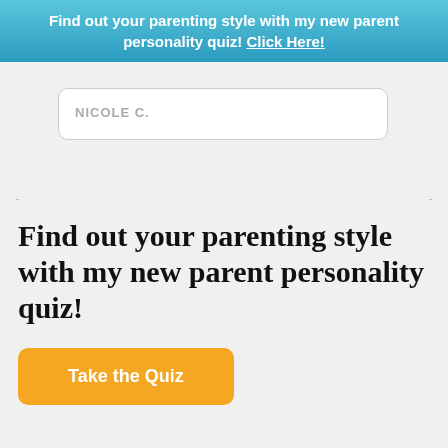Find out your parenting style with my new parent personality quiz! Click Here!
NICOLE C.
Find out your parenting style with my new parent personality quiz!
Take the Quiz